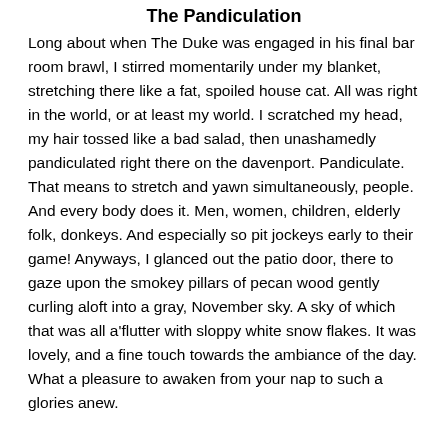The Pandiculation
Long about when The Duke was engaged in his final bar room brawl, I stirred momentarily under my blanket, stretching there like a fat, spoiled house cat. All was right in the world, or at least my world. I scratched my head, my hair tossed like a bad salad, then unashamedly pandiculated right there on the davenport. Pandiculate. That means to stretch and yawn simultaneously, people.  And every body does it. Men, women, children, elderly folk, donkeys. And especially so pit jockeys early to their game! Anyways, I glanced out the patio door, there to gaze upon the smokey pillars of pecan wood gently curling aloft into a gray, November sky. A sky of which that was all a'flutter with sloppy white snow flakes. It was lovely, and a fine touch towards the ambiance of the day. What a pleasure to awaken from your nap to such a glories anew.